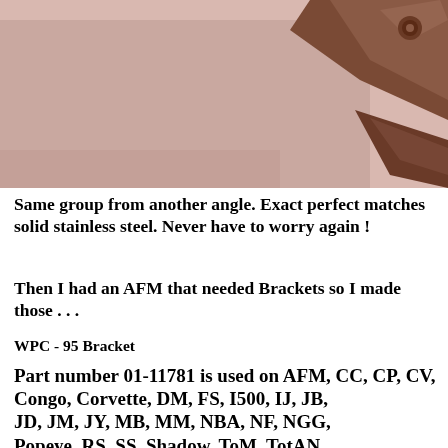[Figure (photo): Photo of metallic bracket pieces on a pinkish-beige surface, viewed from another angle. Copper/bronze colored metal pieces visible.]
Same group from another angle.  Exact perfect matches solid stainless steel.  Never have to worry again !
Then I had an AFM that needed Brackets so I made those . . .
WPC - 95 Bracket
Part number 01-11781 is used on AFM, CC, CP, CV, Congo, Corvette, DM, FS, I500, IJ, JB, JD, JM, JY, MB, MM, NBA, NF, NGG, Popeye, RS, SS, Shadow, ToM, TotAN,